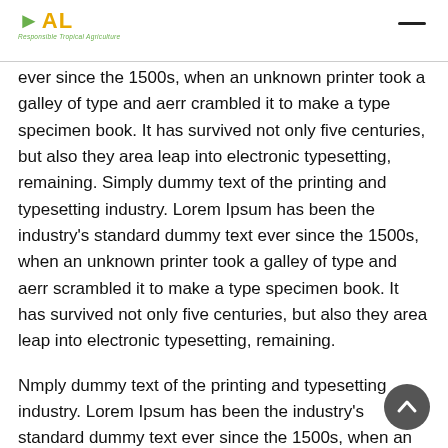SAL - Responsible Tropical Agriculture
ever since the 1500s, when an unknown printer took a galley of type and aerr crambled it to make a type specimen book. It has survived not only five centuries, but also they area leap into electronic typesetting, remaining. Simply dummy text of the printing and typesetting industry. Lorem Ipsum has been the industry's standard dummy text ever since the 1500s, when an unknown printer took a galley of type and aerr scrambled it to make a type specimen book. It has survived not only five centuries, but also they area leap into electronic typesetting, remaining.
Nmply dummy text of the printing and typesetting industry. Lorem Ipsum has been the industry's standard dummy text ever since the 1500s, when an unknown printer took a galley of type andse aerr crambled it to make a type specimen book. It has survived not only five centuries, but also they area leap into electronic typesetting, remaining. Simply dummy text of